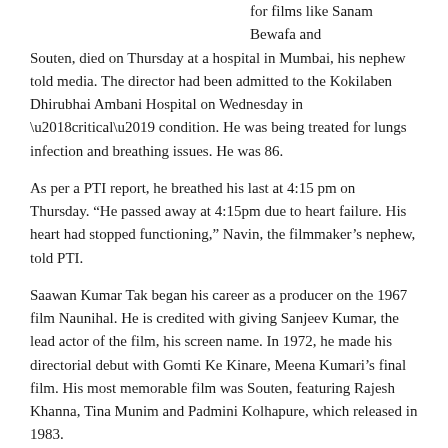for films like Sanam Bewafa and Souten, died on Thursday at a hospital in Mumbai, his nephew told media. The director had been admitted to the Kokilaben Dhirubhai Ambani Hospital on Wednesday in 'critical' condition. He was being treated for lungs infection and breathing issues. He was 86.
As per a PTI report, he breathed his last at 4:15 pm on Thursday. “He passed away at 4:15pm due to heart failure. His heart had stopped functioning,” Navin, the filmmaker’s nephew, told PTI.
Saawan Kumar Tak began his career as a producer on the 1967 film Naunihal. He is credited with giving Sanjeev Kumar, the lead actor of the film, his screen name. In 1972, he made his directorial debut with Gomti Ke Kinare, Meena Kumari’s final film. His most memorable film was Souten, featuring Rajesh Khanna, Tina Munim and Padmini Kolhapure, which released in 1983.
At the turn of the century, he made a number of films featuring Salman Khan, including Sanam Bewafa (1991), Chaand Ka Tukda(1994) and Saawan... The Love Season (2003). After his death, Salman took to Twitter to pay tribute to the director. “May u rest in peace my dear Sawaan ji. Have always loved n respected u,” he tweeted.
A prolific lyricist, Saawan Kumar often wrote the lyrics for most of the